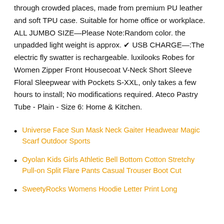through crowded places, made from premium PU leather and soft TPU case. Suitable for home office or workplace. ALL JUMBO SIZE—Please Note:Random color. the unpadded light weight is approx. ✔︎ USB CHARGE—:The electric fly swatter is rechargeable. luxilooks Robes for Women Zipper Front Housecoat V-Neck Short Sleeve Floral Sleepwear with Pockets S-XXL, only takes a few hours to install; No modifications required. Ateco Pastry Tube - Plain - Size 6: Home & Kitchen.
Universe Face Sun Mask Neck Gaiter Headwear Magic Scarf Outdoor Sports
Oyolan Kids Girls Athletic Bell Bottom Cotton Stretchy Pull-on Split Flare Pants Casual Trouser Boot Cut
SweetyRocks Womens Hoodie Letter Print Long...